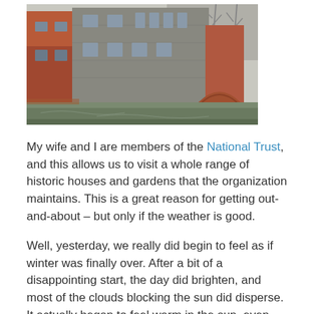[Figure (photo): A historic stone and brick building surrounded by a moat or water, with a bridge arch visible on the right side. Bare trees in the background.]
My wife and I are members of the National Trust, and this allows us to visit a whole range of historic houses and gardens that the organization maintains. This is a great reason for getting out-and-about – but only if the weather is good.
Well, yesterday, we really did begin to feel as if winter was finally over. After a bit of a disappointing start, the day did brighten, and most of the clouds blocking the sun did disperse. It actually began to feel warm in the sun, even